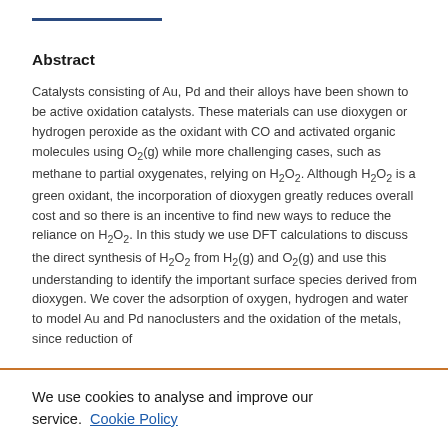Abstract
Catalysts consisting of Au, Pd and their alloys have been shown to be active oxidation catalysts. These materials can use dioxygen or hydrogen peroxide as the oxidant with CO and activated organic molecules using O2(g) while more challenging cases, such as methane to partial oxygenates, relying on H2O2. Although H2O2 is a green oxidant, the incorporation of dioxygen greatly reduces overall cost and so there is an incentive to find new ways to reduce the reliance on H2O2. In this study we use DFT calculations to discuss the direct synthesis of H2O2 from H2(g) and O2(g) and use this understanding to identify the important surface species derived from dioxygen. We cover the adsorption of oxygen, hydrogen and water to model Au and Pd nanoclusters and the oxidation of the metals, since reduction of
We use cookies to analyse and improve our service. Cookie Policy